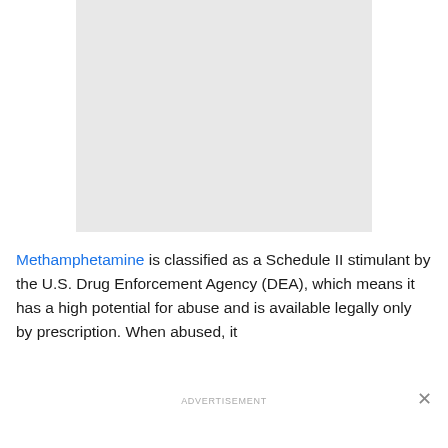[Figure (photo): Gray placeholder image block at the top of the page]
Methamphetamine is classified as a Schedule II stimulant by the U.S. Drug Enforcement Agency (DEA), which means it has a high potential for abuse and is available legally only by prescription. When abused, it
ADVERTISEMENT